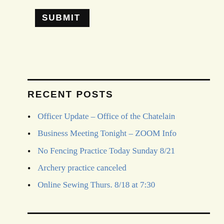SUBMIT
RECENT POSTS
Officer Update – Office of the Chatelain
Business Meeting Tonight – ZOOM Info
No Fencing Practice Today Sunday 8/21
Archery practice canceled
Online Sewing Thurs. 8/18 at 7:30